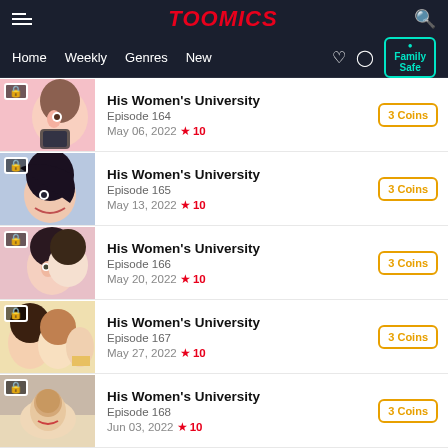TOOMICS - Home Weekly Genres New
His Women's University / Episode 164 / May 06, 2022 ★ 10 / 3 Coins
His Women's University / Episode 165 / May 13, 2022 ★ 10 / 3 Coins
His Women's University / Episode 166 / May 20, 2022 ★ 10 / 3 Coins
His Women's University / Episode 167 / May 27, 2022 ★ 10 / 3 Coins
His Women's University / Episode 168 / Jun 03, 2022 ★ 10 / 3 Coins